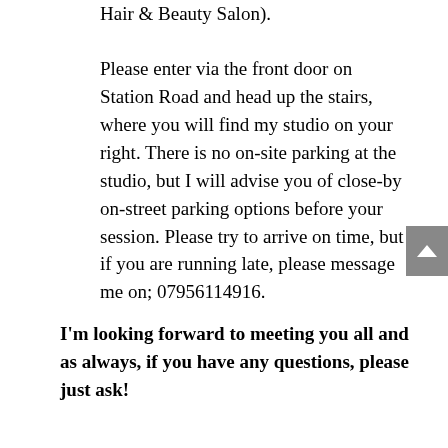Hair & Beauty Salon).
Please enter via the front door on Station Road and head up the stairs, where you will find my studio on your right. There is no on-site parking at the studio, but I will advise you of close-by on-street parking options before your session. Please try to arrive on time, but if you are running late, please message me on; 07956114916.
I'm looking forward to meeting you all and as always, if you have any questions, please just ask!